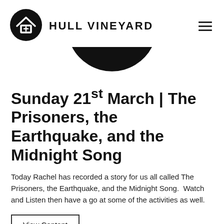HULL VINEYARD
[Figure (logo): Hull Vineyard circular logo: black circle with a house/roof shape and cross inside, in white]
[Figure (illustration): Black semi-circle/bowl shape centered below the logo]
Sunday 21st March | The Prisoners, the Earthquake, and the Midnight Song
Today Rachel has recorded a story for us all called The Prisoners, the Earthquake, and the Midnight Song.  Watch and Listen then have a go at some of the activities as well.
View Content